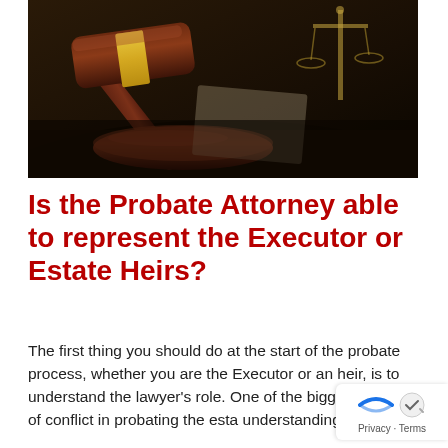[Figure (photo): Close-up photo of a wooden judge's gavel with a gold band, resting on a dark surface. In the background, blurred scales of justice are visible. Legal/court setting.]
Is the Probate Attorney able to represent the Executor or Estate Heirs?
The first thing you should do at the start of the probate process, whether you are the Executor or an heir, is to understand the lawyer's role. One of the biggest sources of conflict in probating the estate understanding.